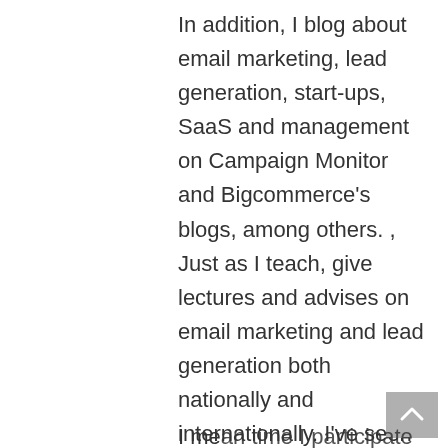In addition, I blog about email marketing, lead generation, start-ups, SaaS and management on Campaign Monitor and Bigcommerce's blogs, among others. , Just as I teach, give lectures and advises on email marketing and lead generation both nationally and internationally. I've seen more than 15 billion sessions of data over the past year, which has given me a clear understanding of what works in different industries and different audiences.
I mean time I participate in